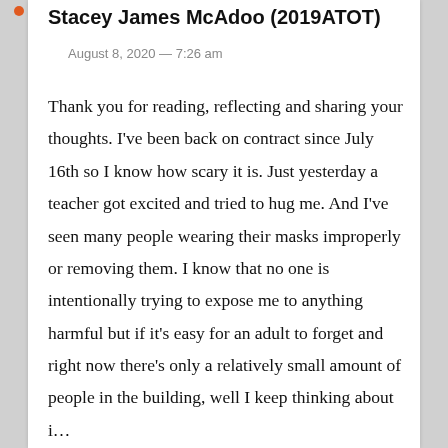Stacey James McAdoo (2019ATOT)
August 8, 2020 — 7:26 am
Thank you for reading, reflecting and sharing your thoughts. I've been back on contract since July 16th so I know how scary it is. Just yesterday a teacher got excited and tried to hug me. And I've seen many people wearing their masks improperly or removing them. I know that no one is intentionally trying to expose me to anything harmful but if it's easy for an adult to forget and right now there's only a relatively small amount of people in the building, well I keep thinking about i…